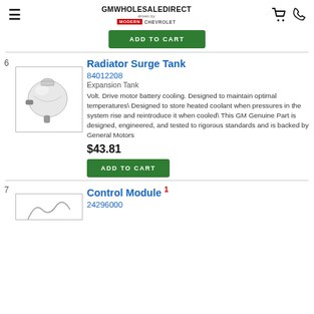GM WHOLESALE DIRECT driven by MODERN CHEVROLET
[Figure (other): Add to Cart green button (partial product above)]
[Figure (photo): Radiator Surge Tank product photo - white translucent plastic expansion tank]
Radiator Surge Tank
84012208
Expansion Tank
Volt. Drive motor battery cooling. Designed to maintain optimal temperatures\ Designed to store heated coolant when pressures in the system rise and reintroduce it when cooled\ This GM Genuine Part is designed, engineered, and tested to rigorous standards and is backed by General Motors
$43.81
[Figure (other): ADD TO CART green button]
Control Module 1
24296000